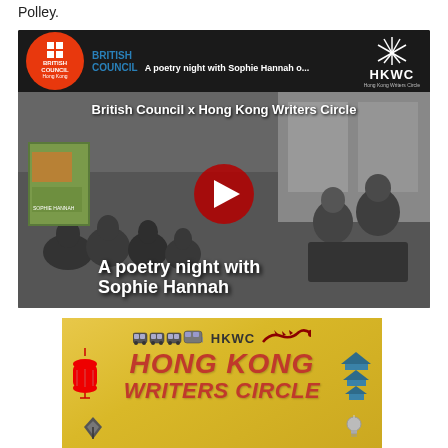Polley.
[Figure (screenshot): YouTube video thumbnail showing 'A poetry night with Sophie Hannah' presented by British Council x Hong Kong Writers Circle. Black and white photo of audience and speakers. Red YouTube play button in center. Book cover visible on left. Text overlay reads 'A poetry night with Sophie Hannah'.]
[Figure (illustration): HKWC Hong Kong Writers Circle promotional banner with yellow/gold background, red decorative text reading 'HONG KONG WRITERS CIRCLE', with train icons, dragon, lantern, pagoda and other decorative elements.]